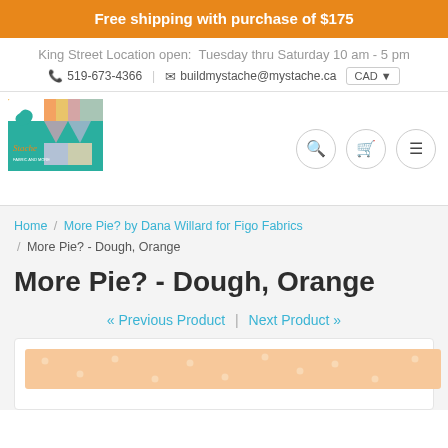Free shipping with purchase of $175
King Street Location open: Tuesday thru Saturday 10 am - 5 pm
519-673-4366  buildmystache@mystache.ca  CAD
[Figure (logo): Stache fabric store logo with colorful fabric swatches]
Home / More Pie? by Dana Willard for Figo Fabrics / More Pie? - Dough, Orange
More Pie? - Dough, Orange
« Previous Product | Next Product »
[Figure (photo): Partial product image showing orange/peach fabric with dot pattern]